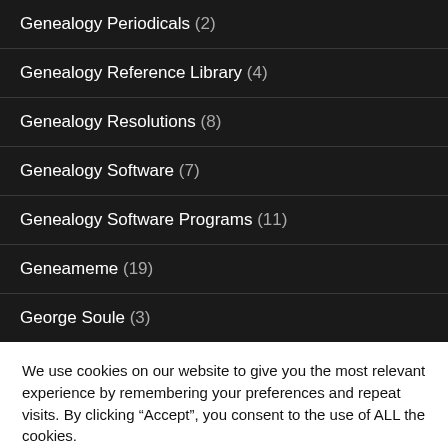Genealogy Periodicals (2)
Genealogy Reference Library (4)
Genealogy Resolutions (8)
Genealogy Software (7)
Genealogy Software Programs (11)
Geneameme (19)
George Soule (3)
We use cookies on our website to give you the most relevant experience by remembering your preferences and repeat visits. By clicking “Accept”, you consent to the use of ALL the cookies.
Do not sell my personal information.
Cookie settings   ACCEPT